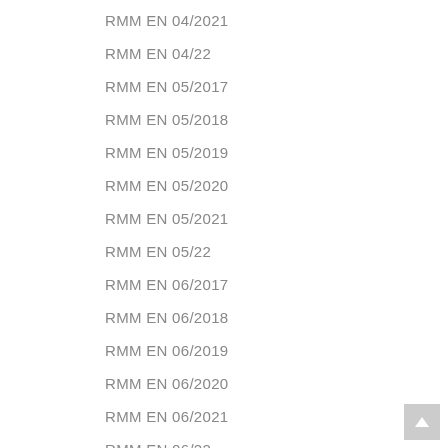RMM EN 04/2021
RMM EN 04/22
RMM EN 05/2017
RMM EN 05/2018
RMM EN 05/2019
RMM EN 05/2020
RMM EN 05/2021
RMM EN 05/22
RMM EN 06/2017
RMM EN 06/2018
RMM EN 06/2019
RMM EN 06/2020
RMM EN 06/2021
RMM EN 06/22